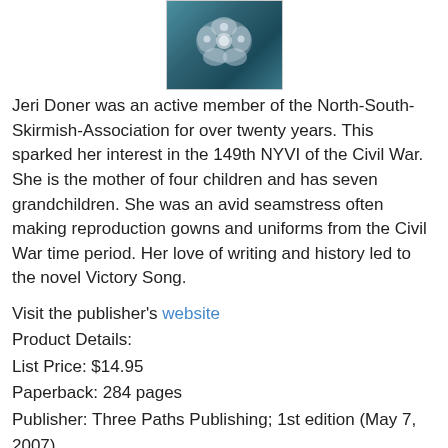[Figure (photo): Partial view of a book cover with a floral/decorative image on a teal/blue background]
Jeri Doner was an active member of the North-South-Skirmish-Association for over twenty years. This sparked her interest in the 149th NYVI of the Civil War. She is the mother of four children and has seven grandchildren. She was an avid seamstress often making reproduction gowns and uniforms from the Civil War time period. Her love of writing and history led to the novel Victory Song.
Visit the publisher's website
Product Details:
List Price: $14.95
Paperback: 284 pages
Publisher: Three Paths Publishing; 1st edition (May 7, 2007)
Language: English
ISBN-10: 0978933737
ISBN-13: 978-0978933739